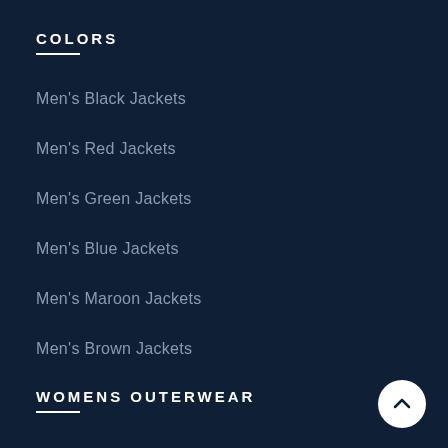COLORS
Men's Black Jackets
Men's Red Jackets
Men's Green Jackets
Men's Blue Jackets
Men's Maroon Jackets
Men's Brown Jackets
WOMENS OUTERWEAR
Women's Jackets
Women's Aviator Jackets